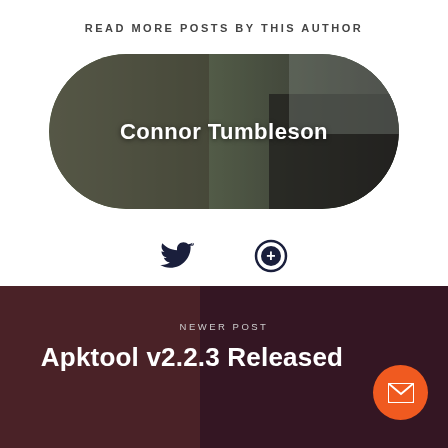READ MORE POSTS BY THIS AUTHOR
[Figure (photo): Author photo of Connor Tumbleson in a rounded pill-shaped card, showing a person with a dog outdoors]
Connor Tumbleson
[Figure (other): Twitter bird icon and a circle-plus icon (social media links)]
NEWER POST
Apktool v2.2.3 Released